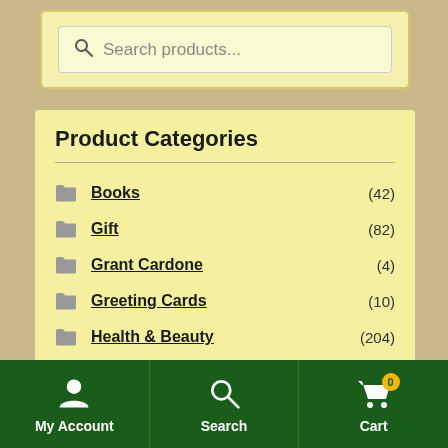Search products...
Product Categories
Books (42)
Gift (82)
Grant Cardone (4)
Greeting Cards (10)
Health & Beauty (204)
Household (13)
Office Supplies And Stationery (152)
My Account | Search | Cart